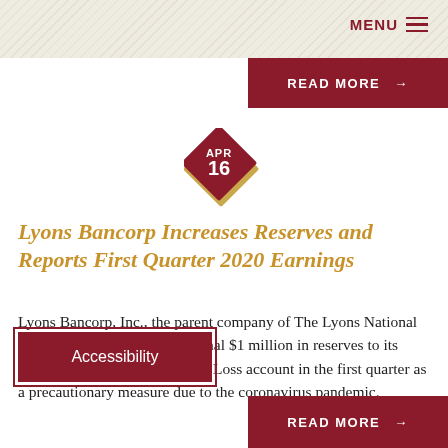MENU
[Figure (other): Red READ MORE button with arrow at top right]
[Figure (other): Diamond shape date badge showing APR 16 in dark red with gold border]
Lyons Bancorp Increases Reserves and Reports First Quarter 2020 Earnings
Lyons Bancorp, Inc., the parent company of The Lyons National Bank (LNB), added an additional $1 million in reserves to its Allowance for Loan and Lease Loss account in the first quarter as a precautionary measure due to the coronavirus pandemic.
[Figure (other): Accessibility button overlay]
[Figure (other): Red READ MORE button with arrow at bottom right]